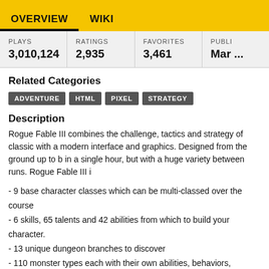OVERVIEW   WIKI
| PLAYS | RATINGS | FAVORITES | PUBLI... |
| --- | --- | --- | --- |
| 3,010,124 | 2,935 | 3,461 | Mar ... |
Related Categories
ADVENTURE
HTML
PIXEL
STRATEGY
Description
Rogue Fable III combines the challenge, tactics and strategy of classic with a modern interface and graphics. Designed from the ground up to be played in a single hour, but with a huge variety between runs. Rogue Fable III i...
- 9 base character classes which can be multi-classed over the course
- 6 skills, 65 talents and 42 abilities from which to build your character.
- 13 unique dungeon branches to discover
- 110 monster types each with their own abilities, behaviors, strengths and weaknesses.
- 140 items to collect.
Rogue Fable III is now in active, continuous development on Steam Ea and will be receiving updates, improvements, and new content there. Th version is, nonetheless, a completed game in itself and will continue to...